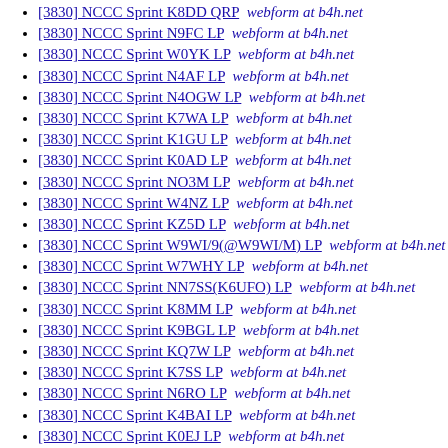[3830] NCCC Sprint K8DD QRP  webform at b4h.net
[3830] NCCC Sprint N9FC LP  webform at b4h.net
[3830] NCCC Sprint W0YK LP  webform at b4h.net
[3830] NCCC Sprint N4AF LP  webform at b4h.net
[3830] NCCC Sprint N4OGW LP  webform at b4h.net
[3830] NCCC Sprint K7WA LP  webform at b4h.net
[3830] NCCC Sprint K1GU LP  webform at b4h.net
[3830] NCCC Sprint K0AD LP  webform at b4h.net
[3830] NCCC Sprint NO3M LP  webform at b4h.net
[3830] NCCC Sprint W4NZ LP  webform at b4h.net
[3830] NCCC Sprint KZ5D LP  webform at b4h.net
[3830] NCCC Sprint W9WI/9(@W9WI/M) LP  webform at b4h.net
[3830] NCCC Sprint W7WHY LP  webform at b4h.net
[3830] NCCC Sprint NN7SS(K6UFO) LP  webform at b4h.net
[3830] NCCC Sprint K8MM LP  webform at b4h.net
[3830] NCCC Sprint K9BGL LP  webform at b4h.net
[3830] NCCC Sprint KQ7W LP  webform at b4h.net
[3830] NCCC Sprint K7SS LP  webform at b4h.net
[3830] NCCC Sprint N6RO LP  webform at b4h.net
[3830] NCCC Sprint K4BAI LP  webform at b4h.net
[3830] NCCC Sprint K0EJ LP  webform at b4h.net
[3830] Makrothen RTTY VU2PTT SO/Single Xcvr HP  webform at b4h.net